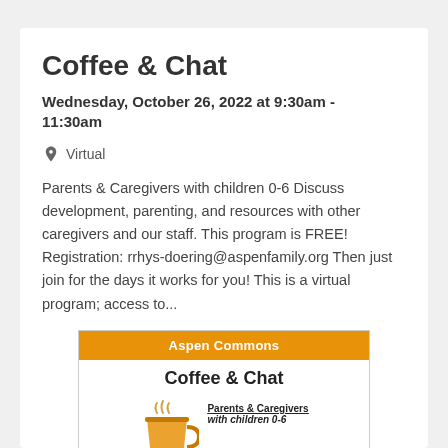Coffee & Chat
Wednesday, October 26, 2022 at 9:30am - 11:30am
Virtual
Parents & Caregivers with children 0-6 Discuss development, parenting, and resources with other caregivers and our staff. This program is FREE! Registration: rrhys-doering@aspenfamily.org Then just join for the days it works for you! This is a virtual program; access to...
[Figure (illustration): A promotional flyer for Coffee & Chat at Aspen Commons. Orange header bar with 'Aspen Commons' text, then 'Coffee & Chat' title in bold, a coffee cup steam illustration on the left, and text 'Parents & Caregivers with children 0-6' on the right.]